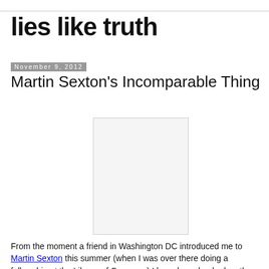lies like truth
November 9, 2012
Martin Sexton's Incomparable Thing
[Figure (photo): Blank/white image placeholder for an embedded photo or video]
From the moment a friend in Washington DC introduced me to Martin Sexton this summer (when I was over there doing a fellowship at the Library of Congress) I have been hooked on the singer-songwriter's voice and music.